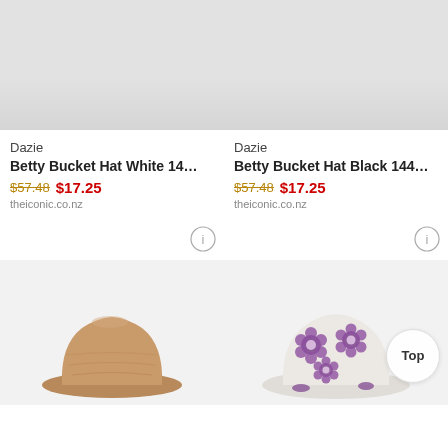[Figure (photo): White bucket hat product image (cropped, mostly white/grey background)]
Dazie
Betty Bucket Hat White 14…
$57.48 $17.25
theiconic.co.nz
[Figure (photo): Black bucket hat product image (cropped, mostly white/grey background)]
Dazie
Betty Bucket Hat Black 144…
$57.48 $17.25
theiconic.co.nz
[Figure (photo): Camel/tan wool bucket hat on white background]
[Figure (photo): White and purple floral pattern bucket hat on white background]